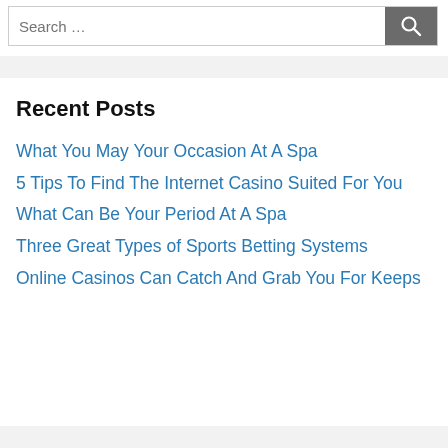Search …
Recent Posts
What You May Your Occasion At A Spa
5 Tips To Find The Internet Casino Suited For You
What Can Be Your Period At A Spa
Three Great Types of Sports Betting Systems
Online Casinos Can Catch And Grab You For Keeps